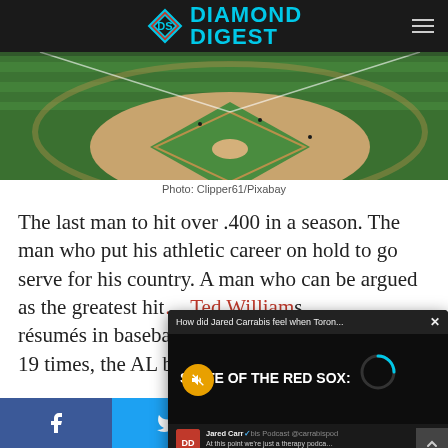Diamond Digest
[Figure (photo): Aerial view of a baseball diamond/field with green outfield and dirt infield]
Photo: Clipper61/Pixabay
The last man to hit over .400 in a season. The man who put his athletic career on hold to go serve for his country. A man who can be argued as the greatest hit... 'em up. Ted William... résumés in baseba... 19 times, the AL ba...
[Figure (screenshot): Video popup overlay: 'How did Jared Carrabis feel when Toron...' with STATE OF THE RED SOX video thumbnail, mute button, Jared Carrabis Podcast tweet reading 'At this point we're just a therapy podca...' from @carrabispod, 11:34 PM · Aug 25, 2022 · Twitter for iPhone]
Social share bar: Facebook, Twitter, WhatsApp, Telegram